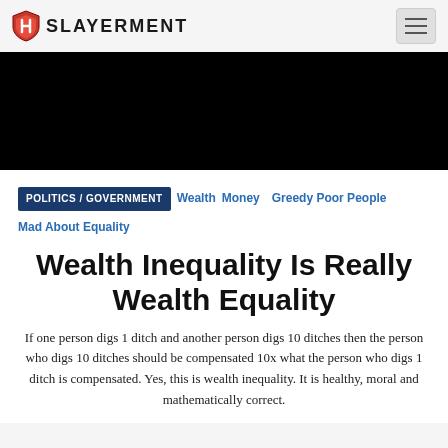SLAYERMENT
[Figure (other): Black hero/banner image area]
POLITICS / GOVERNMENT   Wealth   Money   Greedy Poor People   Mad About Equality
Wealth Inequality Is Really Wealth Equality
If one person digs 1 ditch and another person digs 10 ditches then the person who digs 10 ditches should be compensated 10x what the person who digs 1 ditch is compensated. Yes, this is wealth inequality. It is healthy, moral and mathematically correct.